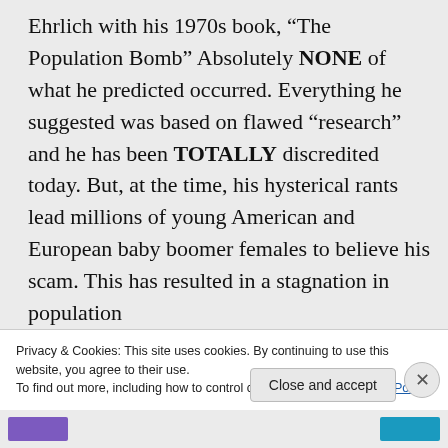Ehrlich with his 1970s book, “The Population Bomb” Absolutely NONE of what he predicted occurred. Everything he suggested was based on flawed “research” and he has been TOTALLY discredited today. But, at the time, his hysterical rants lead millions of young American and European baby boomer females to believe his scam. This has resulted in a stagnation in population
Privacy & Cookies: This site uses cookies. By continuing to use this website, you agree to their use.
To find out more, including how to control cookies, see here: Cookie Policy
Close and accept